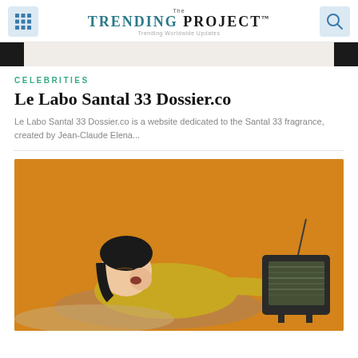The TRENDING PROJECT™ — Trending Worldwide Updates
[Figure (photo): Banner bar with black side panels and beige center]
CELEBRITIES
Le Labo Santal 33 Dossier.co
Le Labo Santal 33 Dossier.co is a website dedicated to the Santal 33 fragrance, created by Jean-Claude Elena...
[Figure (photo): Woman in yellow sweater lying down yawning while watching an old CRT television with static, against orange background]